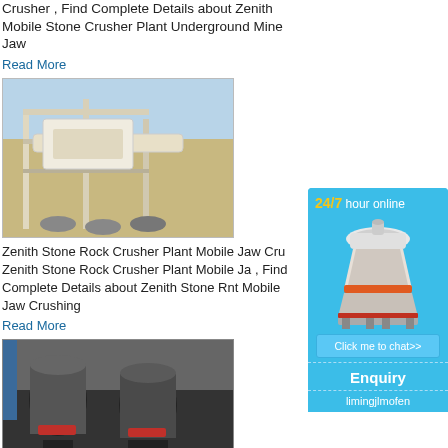Crusher , Find Complete Details about Zenith Mobile Stone Crusher Plant Underground Mine Jaw
Read More
[Figure (photo): Industrial mobile stone crusher plant with conveyor belts and structural framework, outdoor setting with blue sky.]
Zenith Stone Rock Crusher Plant Mobile Jaw Crusher , Zenith Stone Rock Crusher Plant Mobile Jaw , Find Complete Details about Zenith Stone Rock Crusher Plant Mobile Jaw Crushing
Read More
[Figure (photo): Industrial milling/grinding machines in dark setting, multiple cylindrical mill units with red accent rings.]
[Figure (illustration): Sidebar advertisement with '24/7 hour online' text, cone crusher machine image, 'Click me to chat>>' button, 'Enquiry' section, and 'limingjlmofen' text on blue background.]